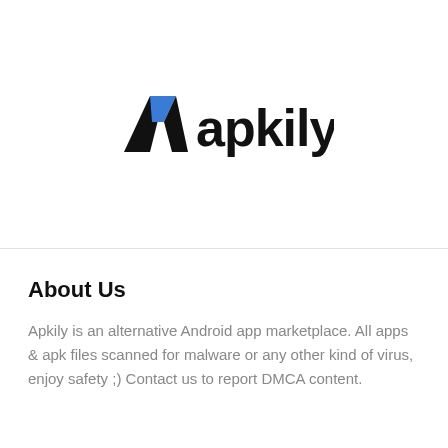[Figure (logo): Apkily logo: a stylized letter A with a blue triangular accent on the left and black bold text 'apkily' on the right]
About Us
Apkily is an alternative Android app marketplace. All apps & apk files scanned for malware or any other kind of virus, enjoy safety ;) Contact us to report DMCA content.